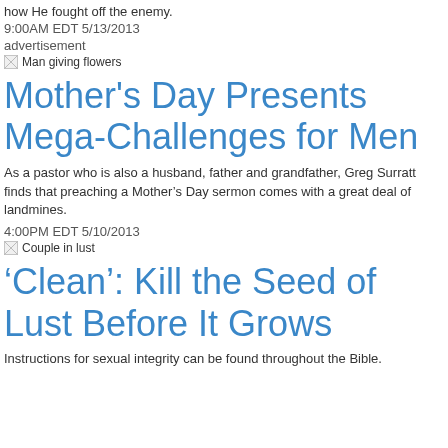how He fought off the enemy.
9:00AM EDT 5/13/2013
advertisement
[Figure (photo): Man giving flowers (broken image)]
Mother's Day Presents Mega-Challenges for Men
As a pastor who is also a husband, father and grandfather, Greg Surratt finds that preaching a Mother’s Day sermon comes with a great deal of landmines.
4:00PM EDT 5/10/2013
[Figure (photo): Couple in lust (broken image)]
'Clean': Kill the Seed of Lust Before It Grows
Instructions for sexual integrity can be found throughout the Bible.